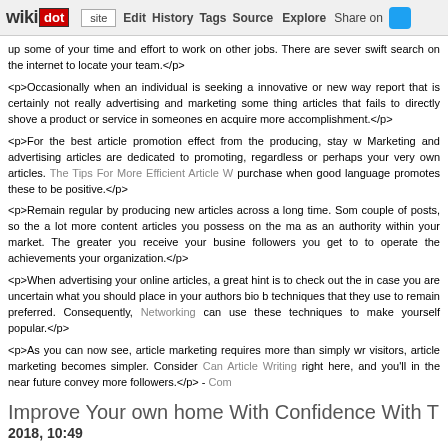wikidot | site | Edit | History | Tags | Source | Explore | Share on [Twitter]
up some of your time and effort to work on other jobs. There are sever swift search on the internet to locate your team.</p>
<p>Occasionally when an individual is seeking a innovative or new way report that is certainly not really advertising and marketing some thing articles that fails to directly shove a product or service in someones en acquire more accomplishment.</p>
<p>For the best article promotion effect from the producing, stay w Marketing and advertising articles are dedicated to promoting, regardless or perhaps your very own articles. The Tips For More Efficient Article W purchase when good language promotes these to be positive.</p>
<p>Remain regular by producing new articles across a long time. Som couple of posts, so the a lot more content articles you possess on the ma as an authority within your market. The greater you receive your busine followers you get to to operate the achievements your organization.</p>
<p>When advertising your online articles, a great hint is to check out the in case you are uncertain what you should place in your authors bio b techniques that they use to remain preferred. Consequently, Networking can use these techniques to make yourself popular.</p>
<p>As you can now see, article marketing requires more than simply wr visitors, article marketing becomes simpler. Consider Can Article Writing right here, and you'll in the near future convey more followers.</p> - Com
Improve Your own home With Confidence With T
2018, 10:49